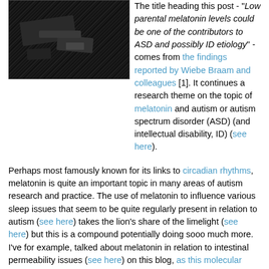[Figure (photo): Black and white photograph, dark grainy image, partially visible at top of page, floated left]
The title heading this post - "Low parental melatonin levels could be one of the contributors to ASD and possibly ID etiology" - comes from the findings reported by Wiebe Braam and colleagues [1]. It continues a research theme on the topic of melatonin and autism or autism spectrum disorder (ASD) (and intellectual disability, ID) (see here).
Perhaps most famously known for its links to circadian rhythms, melatonin is quite an important topic in many areas of autism research and practice. The use of melatonin to influence various sleep issues that seem to be quite regularly present in relation to autism (see here) takes the lion's share of the limelight (see here) but this is a compound potentially doing sooo much more. I've for example, talked about melatonin in relation to intestinal permeability issues (see here) on this blog, as this molecular handyperson [2] offers several possible links/effects with other biological systems. Indeed, Braam et al start from a position where melatonin "is